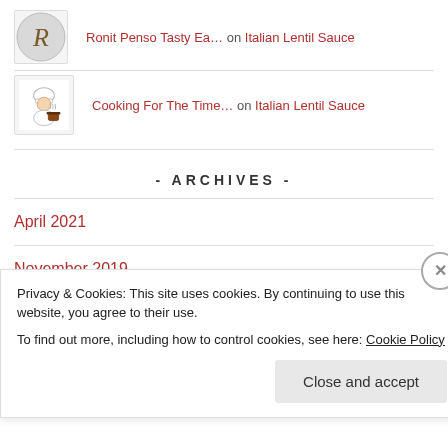Ronit Penso Tasty Ea… on Italian Lentil Sauce
Cooking For The Time… on Italian Lentil Sauce
- ARCHIVES -
April 2021
November 2019
March 2019
Privacy & Cookies: This site uses cookies. By continuing to use this website, you agree to their use.
To find out more, including how to control cookies, see here: Cookie Policy